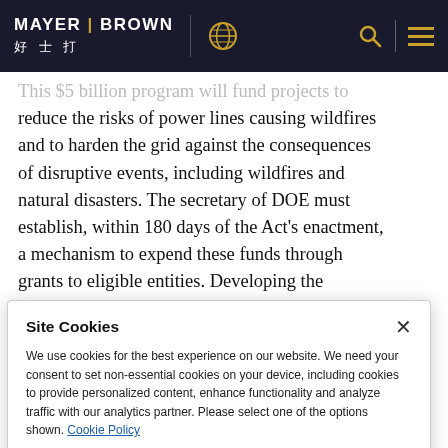MAYER BROWN 好士打
This $5 billion program will fund projects to reduce the risks of power lines causing wildfires and to harden the grid against the consequences of disruptive events, including wildfires and natural disasters. The secretary of DOE must establish, within 180 days of the Act's enactment, a mechanism to expend these funds through grants to eligible entities. Developing the
Site Cookies
We use cookies for the best experience on our website. We need your consent to set non-essential cookies on your device, including cookies to provide personalized content, enhance functionality and analyze traffic with our analytics partner. Please select one of the options shown. Cookie Policy
Accept All | Reject All